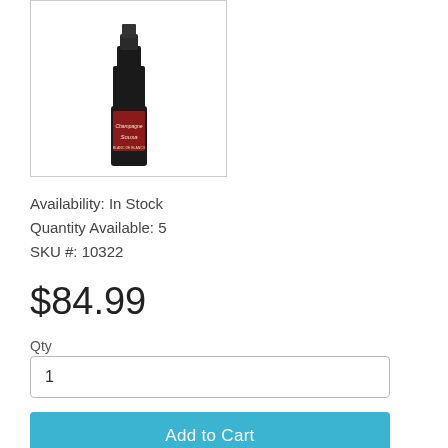[Figure (photo): Bottle of De Sousa Caudalies Blanc De Blancs Brut Champagne, dark bottle with label, shown in a white bordered product image box]
Availability: In Stock
Quantity Available: 5
SKU #: 10322
$84.99
Qty
1
Add to Cart
De Sousa Caudalies Blanc De Blancs Brut Champagne
Aged in local oak, 10% new, made up of 50% Solera and 50% 15-17, all biodynamically farmed. The nose shows lemon, oak, cream, brazil